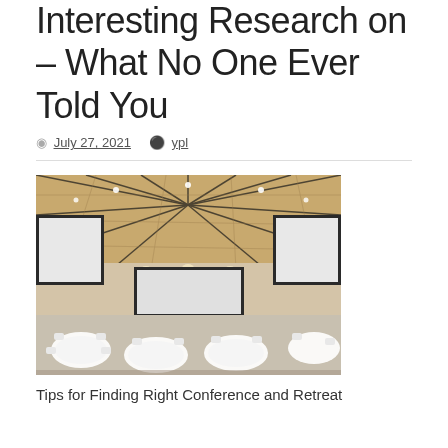Interesting Research on – What No One Ever Told You
July 27, 2021  ypl
[Figure (photo): Interior of a large conference/event room with round banquet tables, white chairs, projection screens, and a distinctive geometric wood-paneled ceiling with radial pattern and recessed lighting.]
Tips for Finding Right Conference and Retreat